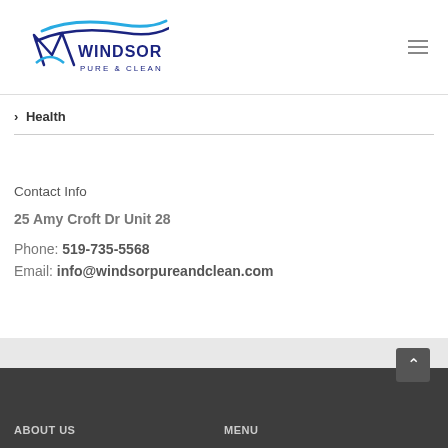[Figure (logo): Windsor Pure & Clean logo with wave design in blue and navy]
> Health
Contact Info
25 Amy Croft Dr Unit 28
Phone: 519-735-5568
Email: info@windsorpureandclean.com
ABOUT US    MENU